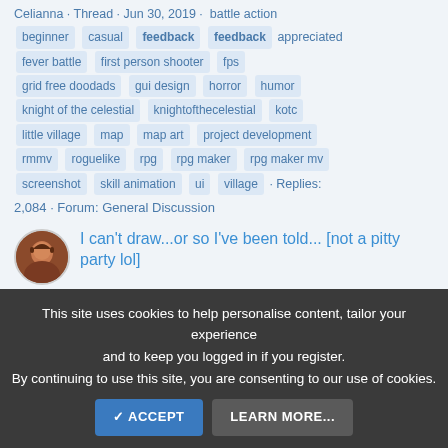Celianna · Thread · Jun 30, 2019 · battle action beginner casual feedback feedback appreciated fever battle first person shooter fps grid free doodads gui design horror humor knight of the celestial knightofthecelestial kotc little village map map art project development rmmv roguelike rpg rpg maker rpg maker mv screenshot skill animation ui village · Replies: 2,084 · Forum: General Discussion
I can't draw...or so I've been told... [not a pitty party lol]
So some of you may know me most of you don't so here is a small introduction on what you need to know to understand where I am comming from : I am 41yo, have been drawing since I could hold a pen (I'll even joke that I
This site uses cookies to help personalise content, tailor your experience and to keep you logged in if you register. By continuing to use this site, you are consenting to our use of cookies.